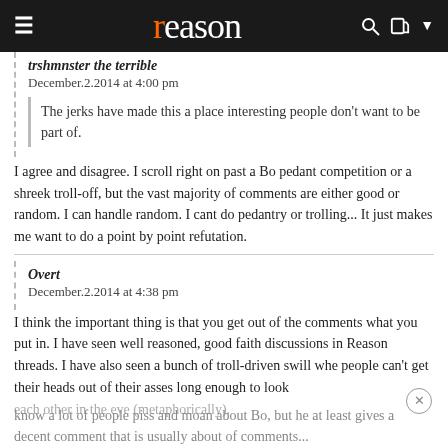reason
trshmnster the terrible
December.2.2014 at 4:00 pm
The jerks have made this a place interesting people don't want to be part of.
I agree and disagree. I scroll right on past a Bo pedant competition or a shreek troll-off, but the vast majority of comments are either good or random. I can handle random. I cant do pedantry or trolling... It just makes me want to do a point by point refutation.
Overt
December.2.2014 at 4:38 pm
I think the important thing is that you get out of the comments what you put in. I have seen well reasoned, good faith discussions in Reason threads. I have also seen a bunch of troll-driven swill whe people can't get their heads out of their asses long enough to look each other in the eye (metaphorically).
[Figure (other): MAC cosmetics advertisement showing lipsticks with SHOP NOW button]
know a lot of people piss and moan about Bo, but he at least gives a decent comment that is usually about of comments...